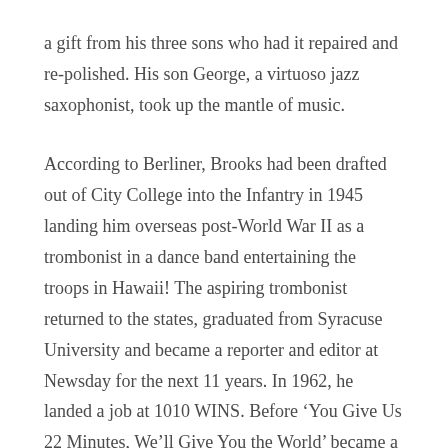a gift from his three sons who had it repaired and re-polished. His son George, a virtuoso jazz saxophonist, took up the mantle of music.
According to Berliner, Brooks had been drafted out of City College into the Infantry in 1945 landing him overseas post-World War II as a trombonist in a dance band entertaining the troops in Hawaii! The aspiring trombonist returned to the states, graduated from Syracuse University and became a reporter and editor at Newsday for the next 11 years. In 1962, he landed a job at 1010 WINS. Before ‘You Give Us 22 Minutes, We’ll Give You the World’ became a household slogan, Stan was doing a two minute newscast at the top of the hour, working alongside legendary deejays like Murray the K and Jack Lacey.